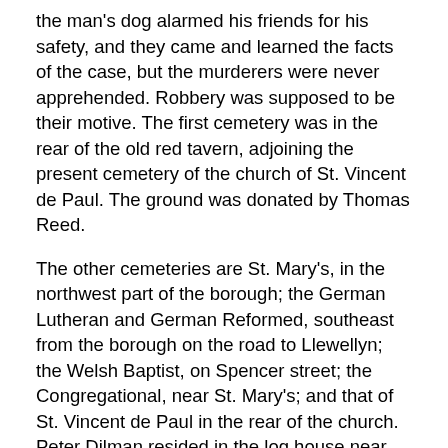the man's dog alarmed his friends for his safety, and they came and learned the facts of the case, but the murderers were never apprehended. Robbery was supposed to be their motive. The first cemetery was in the rear of the old red tavern, adjoining the present cemetery of the church of St. Vincent de Paul. The ground was donated by Thomas Reed.
The other cemeteries are St. Mary's, in the northwest part of the borough; the German Lutheran and German Reformed, southeast from the borough on the road to Llewellyn; the Welsh Baptist, on Spencer street; the Congregational, near St. Mary's; and that of St. Vincent de Paul in the rear of the church. Peter Dilman resided in the log house near the saw-mill after Mr. Reed removed to the red tavern. He was the sawyer in the mill. The lumber that was manufactured in this region at that early period was manufactured in this region at that early period was rafted down the